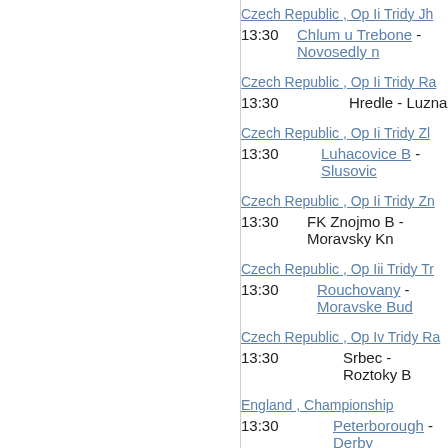Czech Republic , Op Ii Tridy Jh
13:30  Chlum u Trebone - Novosedly n
Czech Republic , Op Ii Tridy Ra
13:30  Hredle - Luzna
Czech Republic , Op Ii Tridy Zl
13:30  Luhacovice B - Slusovic
Czech Republic , Op Ii Tridy Zn
13:30  FK Znojmo B - Moravsky Kn
Czech Republic , Op Iii Tridy Tr
13:30  Rouchovany - Moravske Bud
Czech Republic , Op Iv Tridy Ra
13:30  Srbec - Roztoky B
England , Championship
13:30  Peterborough - Derby